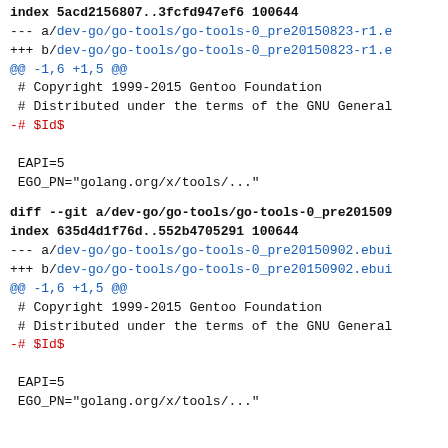index 5acd2156807..3fcfd947ef6 100644
--- a/dev-go/go-tools/go-tools-0_pre20150823-r1.e
+++ b/dev-go/go-tools/go-tools-0_pre20150823-r1.e
@@ -1,6 +1,5 @@
# Copyright 1999-2015 Gentoo Foundation
# Distributed under the terms of the GNU General
-# $Id$
EAPI=5
EGO_PN="golang.org/x/tools/..."
diff --git a/dev-go/go-tools/go-tools-0_pre201509
index 635d4d1f76d..552b4705291 100644
--- a/dev-go/go-tools/go-tools-0_pre20150902.ebui
+++ b/dev-go/go-tools/go-tools-0_pre20150902.ebui
@@ -1,6 +1,5 @@
# Copyright 1999-2015 Gentoo Foundation
# Distributed under the terms of the GNU General
-# $Id$
EAPI=5
EGO_PN="golang.org/x/tools/..."